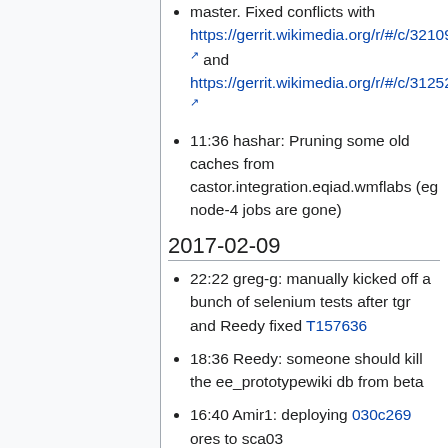master. Fixed conflicts with https://gerrit.wikimedia.org/r/#/c/321096/ and https://gerrit.wikimedia.org/r/#/c/312523/
11:36 hashar: Pruning some old caches from castor.integration.eqiad.wmflabs (eg node-4 jobs are gone)
2017-02-09
22:22 greg-g: manually kicked off a bunch of selenium tests after tgr and Reedy fixed T157636
18:36 Reedy: someone should kill the ee_prototypewiki db from beta
16:40 Amir1: deploying 030c269 ores to sca03
11:11 legoktm[NE]: deploying